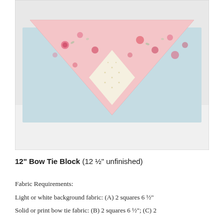[Figure (photo): Photo of light blue fabric with floral print bow tie fabric pieces arranged on top, showing red and pink floral fabric triangles and a cream/white dotted diamond shape, placed on a white surface.]
12" Bow Tie Block (12 ½" unfinished)
Fabric Requirements:
Light or white background fabric: (A) 2 squares 6 ½"
Solid or print bow tie fabric: (B) 2 squares 6 ½"; (C) 2